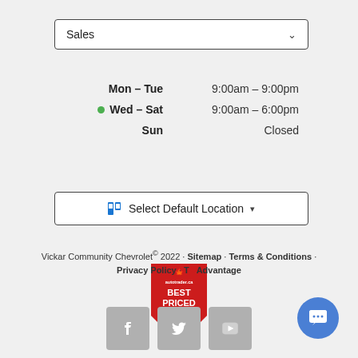Sales (dropdown)
| Day | Hours |
| --- | --- |
| Mon – Tue | 9:00am – 9:00pm |
| Wed – Sat (today) | 9:00am – 6:00pm |
| Sun | Closed |
Select Default Location
[Figure (logo): AutoTrader.ca Best Priced Dealer Award Winner 2021 badge — red shield shape with white text]
Vickar Community Chevrolet © 2022 · Sitemap · Terms & Conditions · Privacy Policy · T❤Advantage
[Figure (illustration): Social media icons row: Facebook, Twitter, YouTube]
[Figure (illustration): Blue circular chat button with message icon]